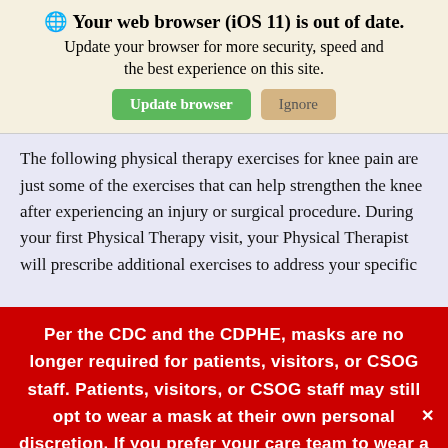🌐 Your web browser (iOS 11) is out of date. Update your browser for more security, speed and the best experience on this site.
Update browser | Ignore
The following physical therapy exercises for knee pain are just some of the exercises that can help strengthen the knee after experiencing an injury or surgical procedure. During your first Physical Therapy visit, your Physical Therapist will prescribe additional exercises to address your specific
Per the CDC and the CDPHE, masks are no longer required for patients, visitors, or CSOG staff. Patients, visitors, or CSOG staff may still opt to wear a mask at their own personal discretion. If you prefer your care team to wear a mask, please notify the scheduler or the check-in team.